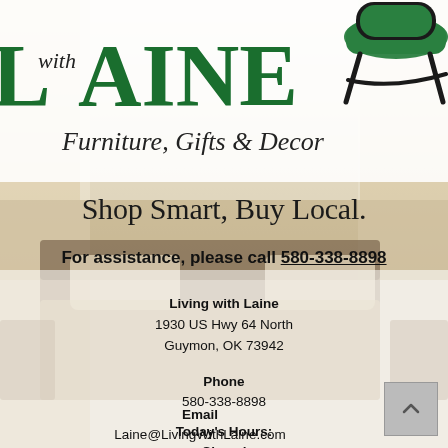[Figure (logo): Living with Laine Furniture, Gifts & Decor logo with green serif text and black chair illustration]
Shop Smart, Buy Local.
For assistance, please call 580-338-8898
Living with Laine
1930 US Hwy 64 North
Guymon, OK 73942
Phone
580-338-8898
Email
Laine@LivingWithLaine.com
Today's Hours:
Closed